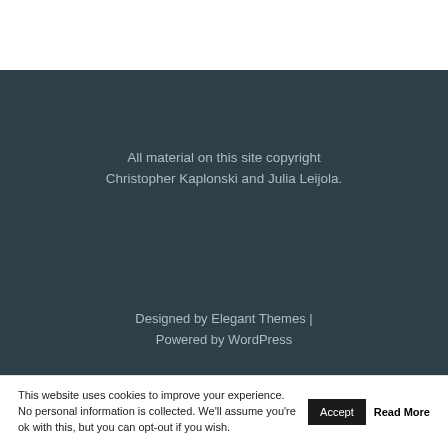All material on this site copyright Christopher Kaplonski and Julia Leijola.
Designed by Elegant Themes | Powered by WordPress
This website uses cookies to improve your experience. No personal information is collected. We'll assume you're ok with this, but you can opt-out if you wish.
Accept
Read More